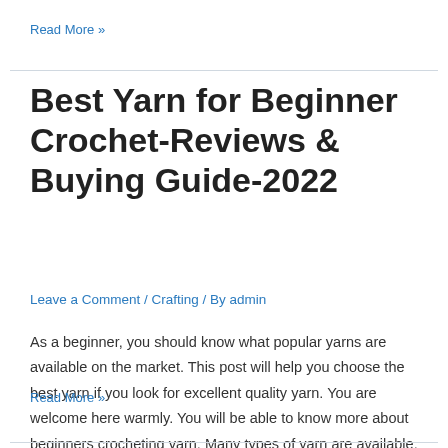Read More »
Best Yarn for Beginner Crochet-Reviews & Buying Guide-2022
Leave a Comment / Crafting / By admin
As a beginner, you should know what popular yarns are available on the market. This post will help you choose the best yarn if you look for excellent quality yarn. You are welcome here warmly. You will be able to know more about beginners crocheting yarn. Many types of yarn are available. Shockingly they are …
Read More »